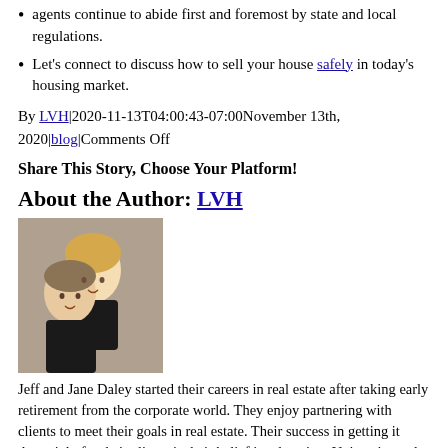agents continue to abide first and foremost by state and local regulations.
Let’s connect to discuss how to sell your house safely in today’s housing market.
By LVH|2020-11-13T04:00:43-07:00November 13th, 2020|blog|Comments Off
Share This Story, Choose Your Platform!
About the Author: LVH
[Figure (photo): Photo of Jeff and Jane Daley, a man and woman posing together]
Jeff and Jane Daley started their careers in real estate after taking early retirement from the corporate world. They enjoy partnering with clients to meet their goals in real estate. Their success in getting it done right for their clients is their belief in education. University and formal real estate courses have been imperative in staying up to date for the benefit of their clients and their business. The Daley's started in real estate in 1999 and have helped hundreds of clients buy or sell their homes successfully. Their fiduciary